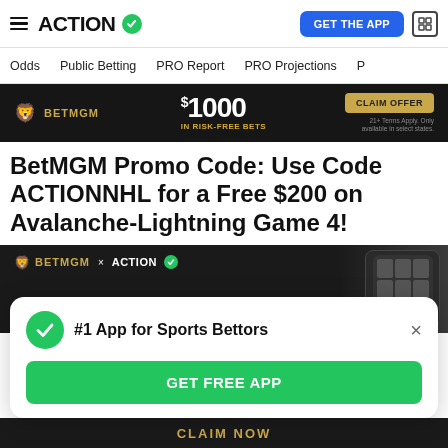ACTION — GET THE APP
Odds | Public Betting | PRO Report | PRO Projections
[Figure (infographic): BetMGM advertisement banner showing $1000 in risk-free bets with CLAIM OFFER button]
BetMGM Promo Code: Use Code ACTIONNHL for a Free $200 on Avalanche-Lightning Game 4!
[Figure (infographic): BetMGM x ACTION promotional banner with phone image and GET YOUR EXCLUSIVE tagline in gold text]
#1 App for Sports Bettors
GET FREE APP